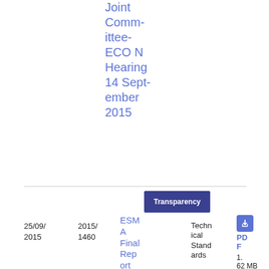ESAB Joint Committee-ECON Hearing 14 September 2015
| Date | Ref | Title | Type | File |
| --- | --- | --- | --- | --- |
| 25/09/2015 | 2015/1460 | ESMA Final Report on DRA… | Technical Standards | PDF 1.62 MB |